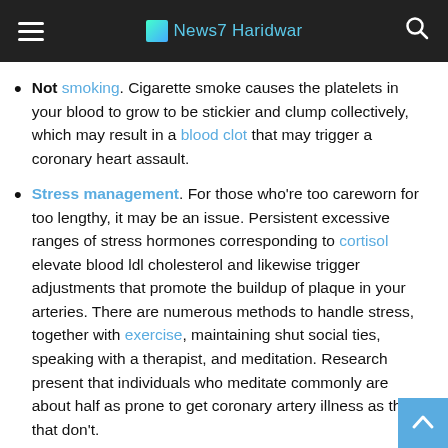News7 Haridwar
Not smoking. Cigarette smoke causes the platelets in your blood to grow to be stickier and clump collectively, which may result in a blood clot that may trigger a coronary heart assault.
Stress management. For those who’re too careworn for too lengthy, it may be an issue. Persistent excessive ranges of stress hormones corresponding to cortisol elevate blood ldl cholesterol and likewise trigger adjustments that promote the buildup of plaque in your arteries. There are numerous methods to handle stress, together with exercise, maintaining shut social ties, speaking with a therapist, and meditation. Research present that individuals who meditate commonly are about half as prone to get coronary artery illness as those that don’t.